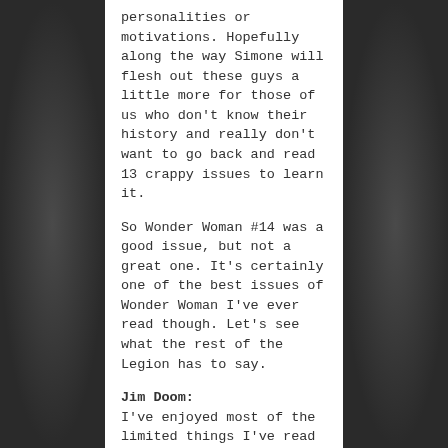personalities or motivations. Hopefully along the way Simone will flesh out these guys a little more for those of us who don't know their history and really don't want to go back and read 13 crappy issues to learn it.
So Wonder Woman #14 was a good issue, but not a great one. It's certainly one of the best issues of Wonder Woman I've ever read though. Let's see what the rest of the Legion has to say.
Jim Doom: I've enjoyed most of the limited things I've read by Gail Simone – Villains United and a few issues of Birds of Prey. She's got a good balance of